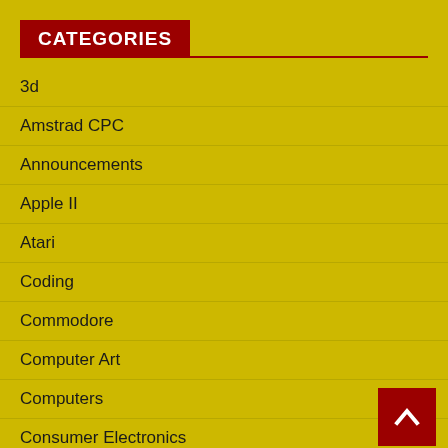CATEGORIES
3d
Amstrad CPC
Announcements
Apple II
Atari
Coding
Commodore
Computer Art
Computers
Consumer Electronics
Departments
Editorials
Education